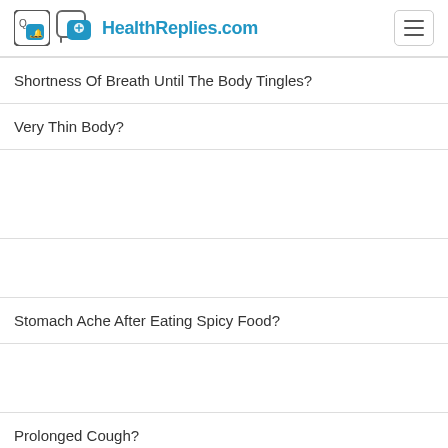HealthReplies.com
Shortness Of Breath Until The Body Tingles?
Very Thin Body?
Stomach Ache After Eating Spicy Food?
Prolonged Cough?